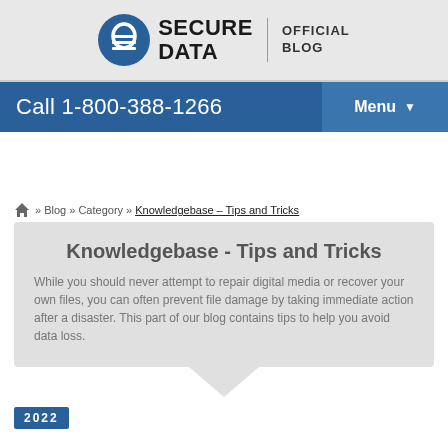SECURE DATA — OFFICIAL BLOG
Call 1-800-388-1266
Menu
🏠 » Blog » Category » Knowledgebase – Tips and Tricks
Knowledgebase - Tips and Tricks
While you should never attempt to repair digital media or recover your own files, you can often prevent file damage by taking immediate action after a disaster. This part of our blog contains tips to help you avoid data loss.
2022